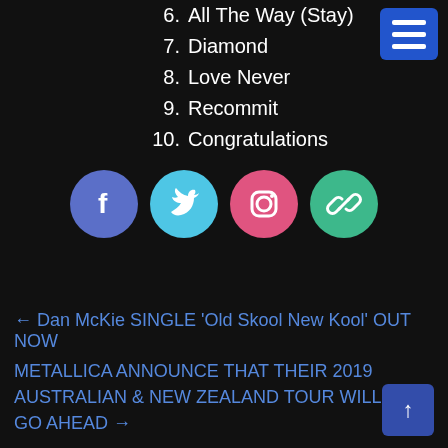6.  All The Way (Stay)
7.  Diamond
8.  Love Never
9.  Recommit
10. Congratulations
[Figure (infographic): Four social media icon circles: Facebook (blue-purple), Twitter (light blue), Instagram (pink-red), Link (green)]
← Dan McKie SINGLE 'Old Skool New Kool' OUT NOW
METALLICA ANNOUNCE THAT THEIR 2019 AUSTRALIAN & NEW ZEALAND TOUR WILL NOT GO AHEAD →